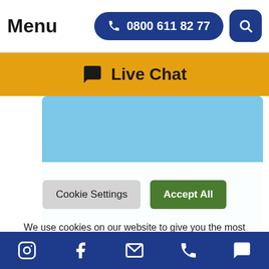Menu  0800 611 82 77
Live Chat
[Figure (screenshot): Light blue image/banner area]
[Figure (screenshot): Light blue strip with dark blue curved arc/logo element]
Cookie Settings  Accept All
We use cookies on our website to give you the most relevant experience by remembering your preferences and repeat visits. By clicking “Accept All”, you consent to the use of ALL the cookies. However, you may visit
Instagram  Facebook  Email  Phone  Chat icons